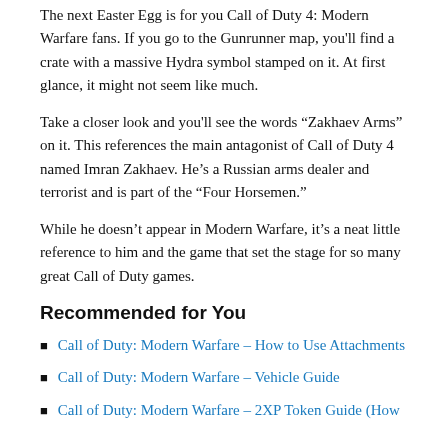The next Easter Egg is for you Call of Duty 4: Modern Warfare fans. If you go to the Gunrunner map, you'll find a crate with a massive Hydra symbol stamped on it. At first glance, it might not seem like much.
Take a closer look and you'll see the words “Zakhaev Arms” on it. This references the main antagonist of Call of Duty 4 named Imran Zakhaev. He’s a Russian arms dealer and terrorist and is part of the “Four Horsemen.”
While he doesn’t appear in Modern Warfare, it’s a neat little reference to him and the game that set the stage for so many great Call of Duty games.
Recommended for You
Call of Duty: Modern Warfare – How to Use Attachments
Call of Duty: Modern Warfare – Vehicle Guide
Call of Duty: Modern Warfare – 2XP Token Guide (How to Get and Use It)